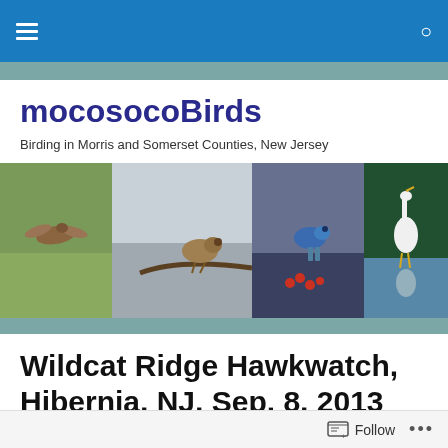mocosocoBirds — navigation bar with hamburger menu and search icon
mocosocoBirds
Birding in Morris and Somerset Counties, New Jersey
[Figure (photo): Four bird photos side by side: a brown bird in flight over grass, a sparrow perched on a branch, a bluebird perched on a branch with red berries, and a white egret wading in water with reflection]
Wildcat Ridge Hawkwatch, Hibernia, NJ, Sep. 8, 2013
Wildcat Ridge
Follow